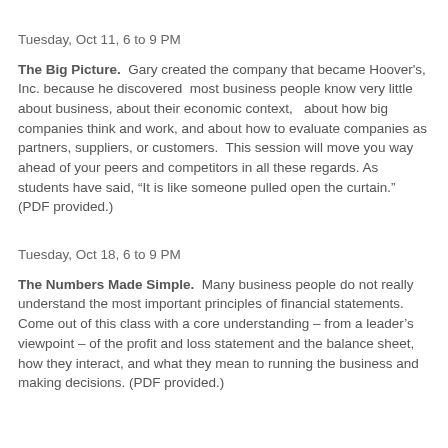Tuesday, Oct 11, 6 to 9 PM
The Big Picture.  Gary created the company that became Hoover's, Inc. because he discovered  most business people know very little about business, about their economic context,  about how big companies think and work, and about how to evaluate companies as partners, suppliers, or customers.  This session will move you way ahead of your peers and competitors in all these regards. As students have said, “It is like someone pulled open the curtain.” (PDF provided.)
Tuesday, Oct 18, 6 to 9 PM
The Numbers Made Simple.  Many business people do not really understand the most important principles of financial statements. Come out of this class with a core understanding – from a leader’s viewpoint – of the profit and loss statement and the balance sheet, how they interact, and what they mean to running the business and making decisions. (PDF provided.)